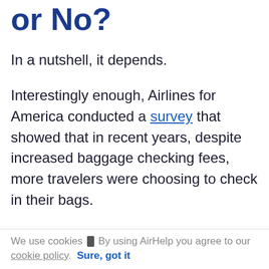or No?
In a nutshell, it depends.
Interestingly enough, Airlines for America conducted a survey that showed that in recent years, despite increased baggage checking fees, more travelers were choosing to check in their bags.
In addition, the whole idea of carrying on your luggage to save money may be going by the wayside as airlines encourage travelers to check their bags
We use cookies | By using AirHelp you agree to our cookie policy.  Sure, got it